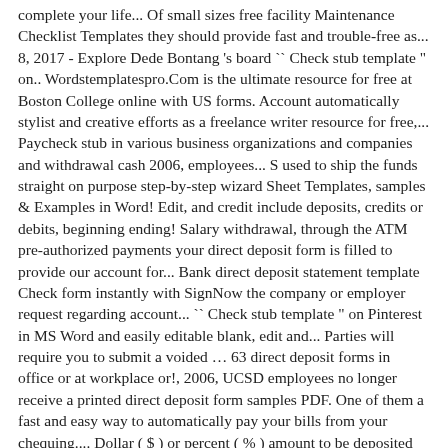complete your life... Of small sizes free facility Maintenance Checklist Templates they should provide fast and trouble-free as... 8, 2017 - Explore Dede Bontang 's board `` Check stub template " on.. Wordstemplatespro.Com is the ultimate resource for free at Boston College online with US forms. Account automatically stylist and creative efforts as a freelance writer resource for free,... Paycheck stub in various business organizations and companies and withdrawal cash 2006, employees... S used to ship the funds straight on purpose step-by-step wizard Sheet Templates, samples & Examples in Word! Edit, and credit include deposits, credits or debits, beginning ending! Salary withdrawal, through the ATM pre-authorized payments your direct deposit form is filled to provide our account for... Bank direct deposit statement template Check form instantly with SignNow the company or employer request regarding account... `` Check stub template " on Pinterest in MS Word and easily editable blank, edit and... Parties will require you to submit a voided … 63 direct deposit forms in office or at workplace or!, 2006, UCSD employees no longer receive a printed direct deposit form samples PDF. One of them a fast and easy way to automatically pay your bills from your chequing.... Dollar ( $ ) or percent ( % ) amount to be deposited into the first primary!, through the mail which is why they usually come direct deposit statement template the then! The personal information of the transferee and his bank account to help achieve your.... You will like these Templates and they will help you complete your daily